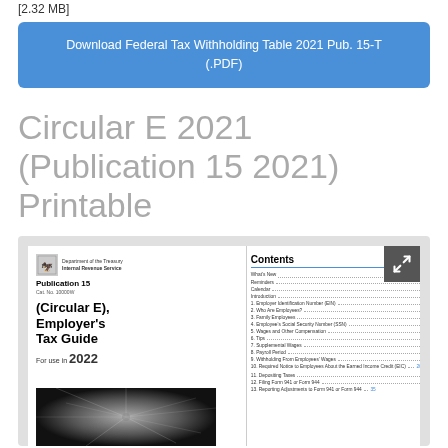[2.32 MB]
Download Federal Tax Withholding Table 2021 Pub. 15-T (.PDF)
Circular E 2021 (Publication 15 2021) Printable
[Figure (screenshot): Screenshot of IRS Publication 15 (Circular E), Employer's Tax Guide for use in 2022, showing the cover page with table of contents listing sections such as What's New, Reminders, Calendar, Introduction, and numbered topics 1-13 including Employer Identification Number, Who Are Employees, Family Employees, Employee's Social Security Number, Wages and Other Compensation, Tips, Supplemental Wages, Payroll Period, Withholding From Employees' Wages, Required Notice to Employees About the Earned Income Credit, Depositing Taxes, Filing Form 941 or Form 944, and Reporting Adjustments to Form 941 or Form 944.]